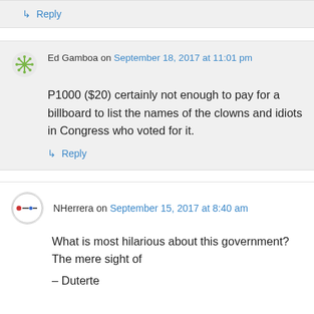↳ Reply
Ed Gamboa on September 18, 2017 at 11:01 pm
P1000 ($20) certainly not enough to pay for a billboard to list the names of the clowns and idiots in Congress who voted for it.
↳ Reply
NHerrera on September 15, 2017 at 8:40 am
What is most hilarious about this government? The mere sight of
– Duterte